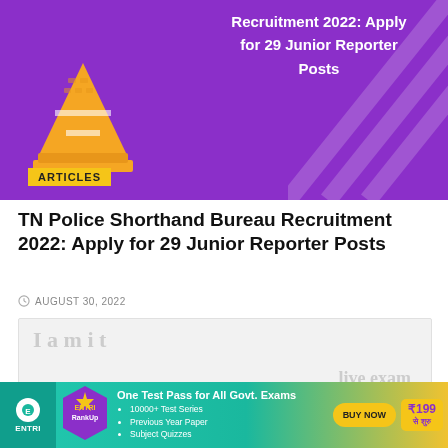[Figure (illustration): Purple banner with a yellow/gold traffic cone/pyramid illustration on the left and white bold text on the right reading 'Recruitment 2022: Apply for 29 Junior Reporter Posts'. An ARTICLES tag label in yellow is at the bottom left.]
TN Police Shorthand Bureau Recruitment 2022: Apply for 29 Junior Reporter Posts
AUGUST 30, 2022
[Figure (other): Light grey advertisement placeholder box with faint watermark text]
[Figure (other): Bottom banner advertisement for ENTRI RankUp: One Test Pass for All Govt. Exams. 10000+ Test Series, Previous Year Paper, Subject Quizzes. BUY NOW button. ₹199 से शुरु.]